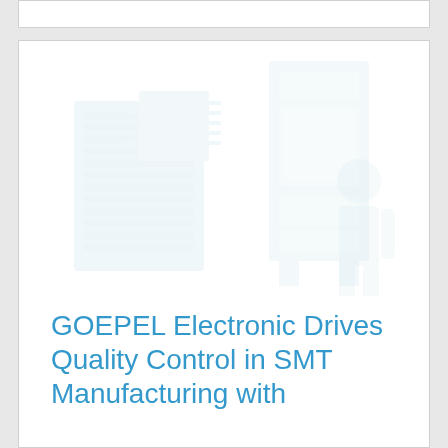[Figure (photo): Faint watermark-style background image showing electronic circuit board / SMT components, rendered in very light blue-gray tones on white background]
GOEPEL Electronic Drives Quality Control in SMT Manufacturing with